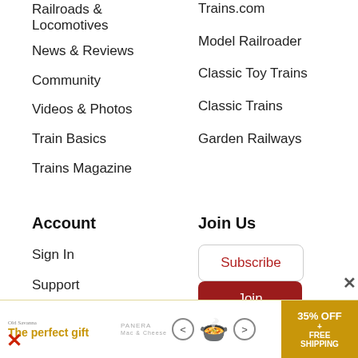Railroads & Locomotives
News & Reviews
Community
Videos & Photos
Train Basics
Trains Magazine
Trains.com
Model Railroader
Classic Toy Trains
Classic Trains
Garden Railways
Account
Sign In
Support
Contact
Join Us
Subscribe
Join
Classifie...
[Figure (infographic): Advertisement banner: The perfect gift - food bowl product with navigation arrows and 35% OFF + FREE SHIPPING offer]
×